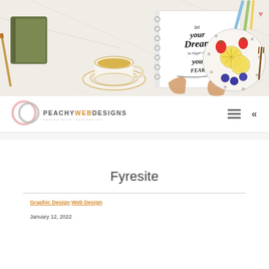[Figure (photo): Overhead desk scene: hands holding a calligraphy sketchbook reading 'let your dream be bigger than your fears', a tea cup on a decorative saucer, a green journal, colored pencils, and a decorative plate with strawberries, lemon slices, and blueberries on a white marble surface.]
[Figure (logo): Peachy Web Designs logo: overlapping circle rings in pink/salmon and grey tones, with text PEACHY WEB DESIGNS and tagline DESIGN WITH INSPIRATION]
Fyresite
Graphic Design Web Design
January 12, 2022